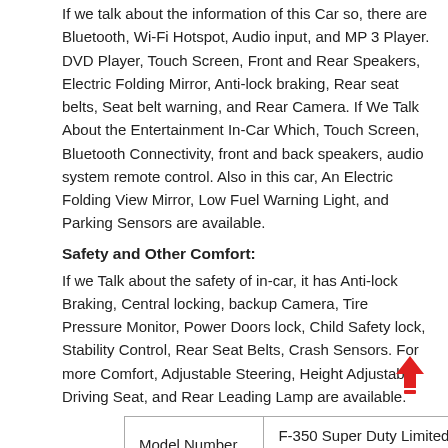If we talk about the information of this Car so, there are Bluetooth, Wi-Fi Hotspot, Audio input, and MP 3 Player. DVD Player, Touch Screen, Front and Rear Speakers, Electric Folding Mirror, Anti-lock braking, Rear seat belts, Seat belt warning, and Rear Camera. If We Talk About the Entertainment In-Car Which, Touch Screen, Bluetooth Connectivity, front and back speakers, audio system remote control. Also in this car, An Electric Folding View Mirror, Low Fuel Warning Light, and Parking Sensors are available.
Safety and Other Comfort:
If we Talk about the safety of in-car, it has Anti-lock Braking, Central locking, backup Camera, Tire Pressure Monitor, Power Doors lock, Child Safety lock, Stability Control, Rear Seat Belts, Crash Sensors. For more Comfort, Adjustable Steering, Height Adjustable Driving Seat, and Rear Leading Lamp are available.
| Model Number | F-350 Super Duty Limited 2022 |
| Made In | China |
| Warranty | From/30,000 miles... |